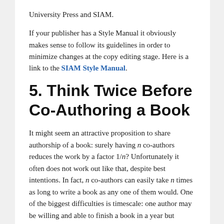University Press and SIAM.
If your publisher has a Style Manual it obviously makes sense to follow its guidelines in order to minimize changes at the copy editing stage. Here is a link to the SIAM Style Manual.
5. Think Twice Before Co-Authoring a Book
It might seem an attractive proposition to share authorship of a book: surely having n co-authors reduces the work by a factor 1/n? Unfortunately it often does not work out like that, despite best intentions. In fact, n co-authors can easily take n times as long to write a book as any one of them would. One of the biggest difficulties is timescale: one author may be willing and able to finish a book in a year but another may need twice that period to